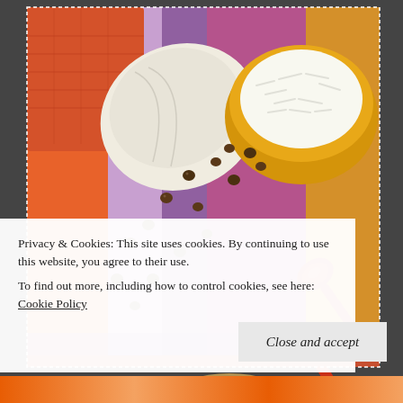[Figure (photo): Food photography showing a bowl of lentil dal/curry with cilantro and red pepper garnish in an orange bowl, scattered brown lentils on a colorful striped placemat, a yellow bowl of white rice, a red spoon, and a folded cloth napkin. Vibrant colors including orange, red, purple, and yellow.]
Privacy & Cookies: This site uses cookies. By continuing to use this website, you agree to their use.
To find out more, including how to control cookies, see here: Cookie Policy
Close and accept